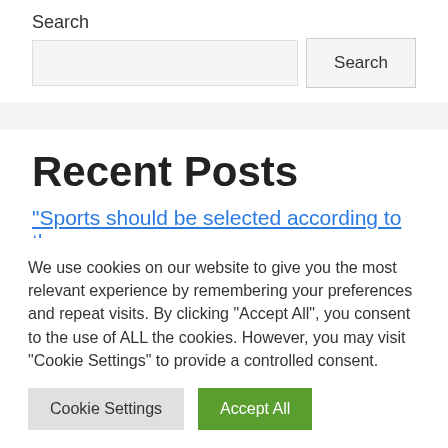Search
Search (input and button)
Recent Posts
“Sports should be selected according to the
We use cookies on our website to give you the most relevant experience by remembering your preferences and repeat visits. By clicking “Accept All”, you consent to the use of ALL the cookies. However, you may visit "Cookie Settings" to provide a controlled consent.